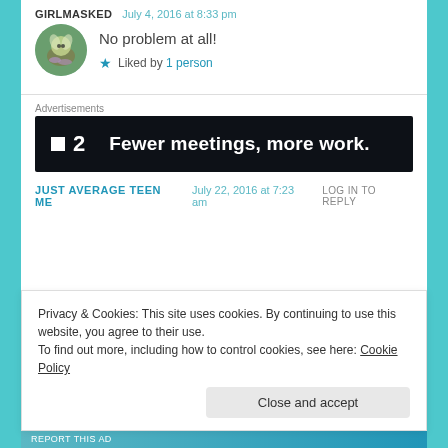GIRLMASKED  July 4, 2016 at 8:33 pm
No problem at all!
★ Liked by 1 person
Advertisements
[Figure (other): Advertisement banner: P2 logo with text 'Fewer meetings, more work.' on dark background]
JUST AVERAGE TEEN ME  July 22, 2016 at 7:23 am  LOG IN TO REPLY
Privacy & Cookies: This site uses cookies. By continuing to use this website, you agree to their use.
To find out more, including how to control cookies, see here: Cookie Policy
Close and accept